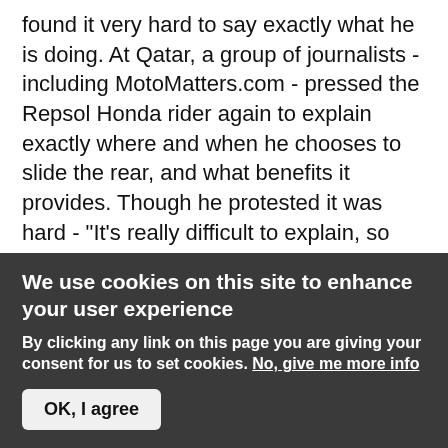found it very hard to say exactly what he is doing. At Qatar, a group of journalists - including MotoMatters.com - pressed the Repsol Honda rider again to explain exactly where and when he chooses to slide the rear, and what benefits it provides. Though he protested it was hard - "It's really difficult to explain, so many people have asked me," he said - he went on to talk at length about what he does and why.
The most important distinction to make, Stoner emphasized, was between sliding the bike under control and finding it sliding when you hadn't planned to. "Normally, when you're sliding the bike under control, it
We use cookies on this site to enhance your user experience
By clicking any link on this page you are giving your consent for us to set cookies. No, give me more info
OK, I agree